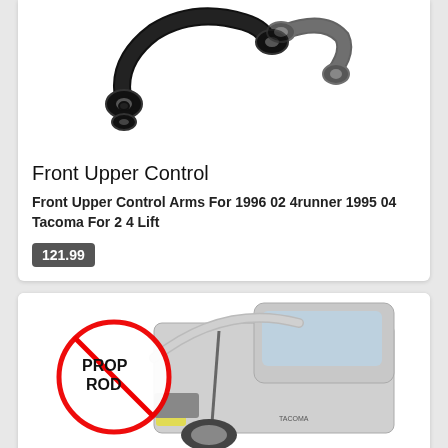[Figure (photo): Black front upper control arms (a pair) on white background]
Front Upper Control
Front Upper Control Arms For 1996 02 4runner 1995 04 Tacoma For 2 4 Lift
121.99
[Figure (photo): White pickup truck with hood open, showing a 'No Prop Rod' symbol (circle with diagonal line through PROP ROD text)]